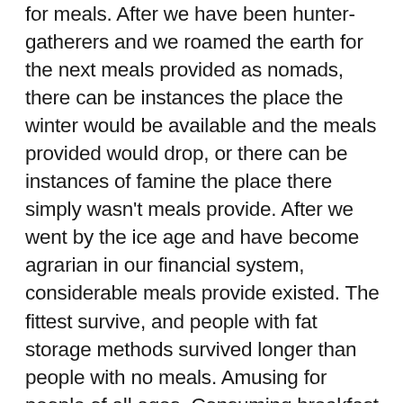for meals. After we have been hunter-gatherers and we roamed the earth for the next meals provided as nomads, there can be instances the place the winter would be available and the meals provided would drop, or there can be instances of famine the place there simply wasn't meals provide. After we went by the ice age and have become agrarian in our financial system, considerable meals provide existed. The fittest survive, and people with fat storage methods survived longer than people with no meals. Amusing for people of all ages. Consuming breakfast retains your Nono Est Toujours En Retard Sauf Pour Lapero Shirt metabolism in line so that you use up extra energy by the day. That messes up your metabolism! The one entry within the Halloween sequence to not characteristic looming killer Michael Myers, this supernatural horror thriller was made with the intention of turning Halloween into an